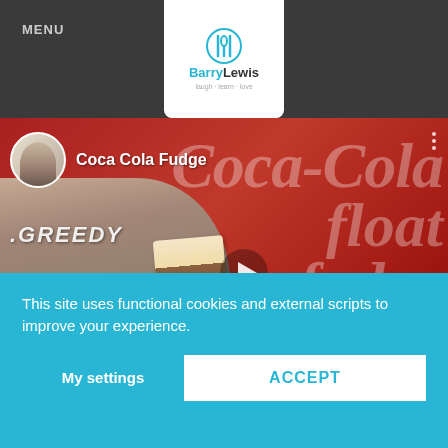MENU
[Figure (logo): Barry Lewis logo with fork and spoon icon, tagline: laugh learn love]
[Figure (screenshot): YouTube-style video thumbnail showing a man holding a piece of Coca Cola float fudge, with Coca-Cola branded red background showing 'Coca Cola float fudge' text and a play button. Video title bar shows 'Coca Cola Fudge' with avatar.]
This site uses functional cookies and external scripts to improve your experience.
My settings
ACCEPT